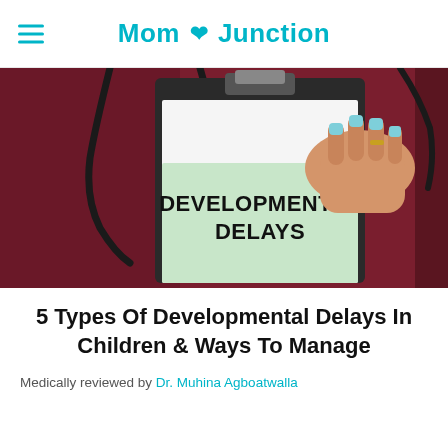Mom Junction
[Figure (photo): A person in dark red medical scrubs holding a clipboard with a light green paper showing the text 'DEVELOPMENTAL DELAYS' in bold black letters. A stethoscope is visible around the neck. The person has blue painted fingernails.]
5 Types Of Developmental Delays In Children & Ways To Manage
Medically reviewed by Dr. Muhina Agboatwalla